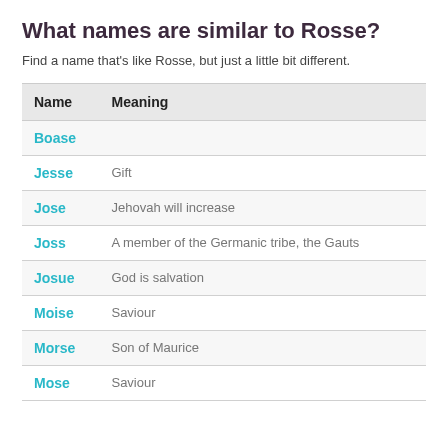What names are similar to Rosse?
Find a name that's like Rosse, but just a little bit different.
| Name | Meaning |
| --- | --- |
| Boase |  |
| Jesse | Gift |
| Jose | Jehovah will increase |
| Joss | A member of the Germanic tribe, the Gauts |
| Josue | God is salvation |
| Moise | Saviour |
| Morse | Son of Maurice |
| Mose | Saviour |